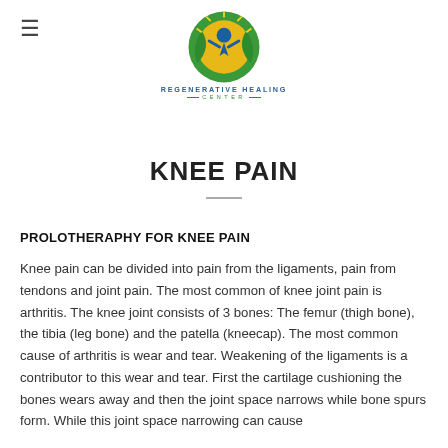[Figure (logo): Regenerative Healing Center logo — circular emblem with green leaves and a blue/gold human figure with rays, above text 'REGENERATIVE HEALING CENTER']
KNEE PAIN
PROLOTHERAPHY FOR KNEE PAIN
Knee pain can be divided into pain from the ligaments, pain from tendons and joint pain. The most common of knee joint pain is arthritis. The knee joint consists of 3 bones: The femur (thigh bone), the tibia (leg bone) and the patella (kneecap). The most common cause of arthritis is wear and tear. Weakening of the ligaments is a contributor to this wear and tear. First the cartilage cushioning the bones wears away and then the joint space narrows while bone spurs form. While this joint space narrowing can cause